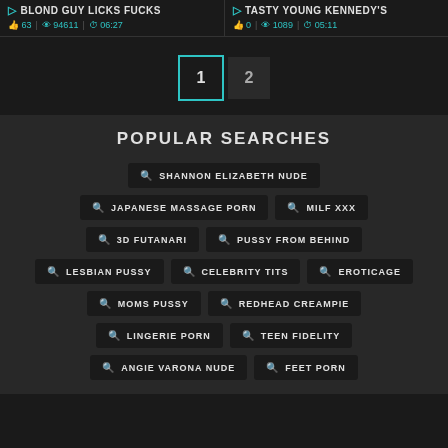BLOND GUY LICKS FUCKS | 63 | 94611 | 06:27
TASTY YOUNG KENNEDY'S | 0 | 1089 | 05:11
1  2
POPULAR SEARCHES
SHANNON ELIZABETH NUDE
JAPANESE MASSAGE PORN
MILF XXX
3D FUTANARI
PUSSY FROM BEHIND
LESBIAN PUSSY
CELEBRITY TITS
EROTICAGE
MOMS PUSSY
REDHEAD CREAMPIE
LINGERIE PORN
TEEN FIDELITY
ANGIE VARONA NUDE
FEET PORN